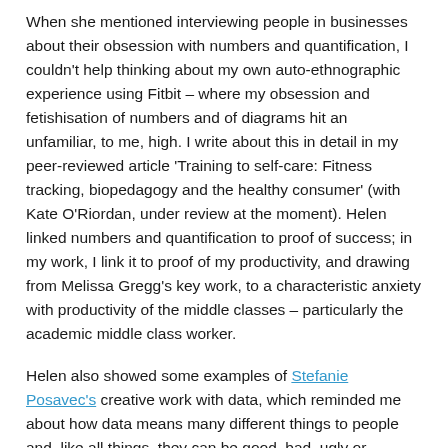When she mentioned interviewing people in businesses about their obsession with numbers and quantification, I couldn't help thinking about my own auto-ethnographic experience using Fitbit – where my obsession and fetishisation of numbers and of diagrams hit an unfamiliar, to me, high. I write about this in detail in my peer-reviewed article 'Training to self-care: Fitness tracking, biopedagogy and the healthy consumer' (with Kate O'Riordan, under review at the moment). Helen linked numbers and quantification to proof of success; in my work, I link it to proof of my productivity, and drawing from Melissa Gregg's key work, to a characteristic anxiety with productivity of the middle classes – particularly the academic middle class worker.
Helen also showed some examples of Stefanie Posavec's creative work with data, which reminded me about how data means many different things to people and, like all things, they can be good, bad, ugly or beautiful.